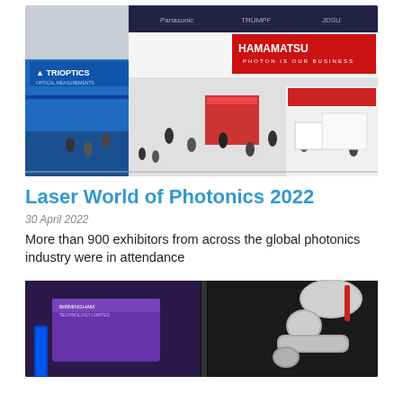[Figure (photo): Aerial view of a busy trade show floor with exhibitors including TRIOPTICS and HAMAMATSU (Photon is our business), crowded with attendees walking between booths.]
Laser World of Photonics 2022
30 April 2022
More than 900 exhibitors from across the global photonics industry were in attendance
[Figure (photo): Exhibition booth with a Birmingham logo/banner on the left and a robotic arm visible on the right, with dark background.]